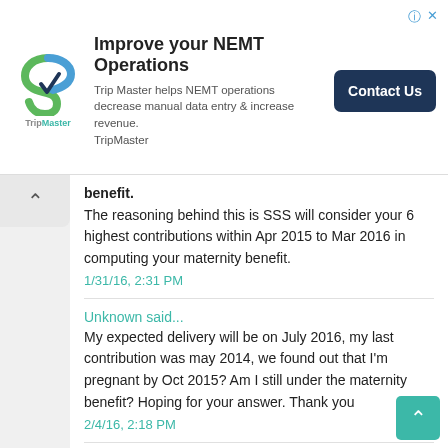[Figure (logo): TripMaster logo with green/blue S-shaped icon and text 'TripMaster']
Improve your NEMT Operations
Trip Master helps NEMT operations decrease manual data entry & increase revenue. TripMaster
Contact Us
benefit.
The reasoning behind this is SSS will consider your 6 highest contributions within Apr 2015 to Mar 2016 in computing your maternity benefit.
1/31/16, 2:31 PM
Unknown said...
My expected delivery will be on July 2016, my last contribution was may 2014, we found out that I'm pregnant by Oct 2015? Am I still under the maternity benefit? Hoping for your answer. Thank you
2/4/16, 2:18 PM
Nora said...
Hi Bambie, if you'll give birth in July, your semester of contingency is Apr to Sep 2016. SSS will look f 6 contributions within 12 months prior to this